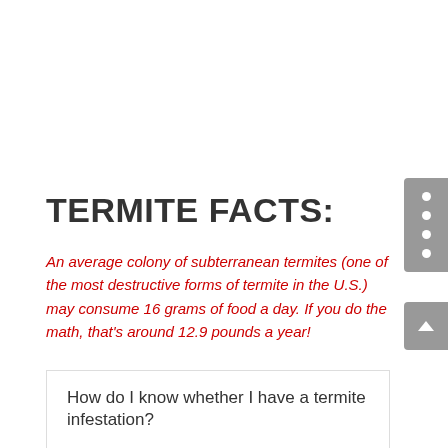TERMITE FACTS:
An average colony of subterranean termites (one of the most destructive forms of termite in the U.S.) may consume 16 grams of food a day. If you do the math, that's around 12.9 pounds a year!
How do I know whether I have a termite infestation?
Most homeowners are unaware of termite